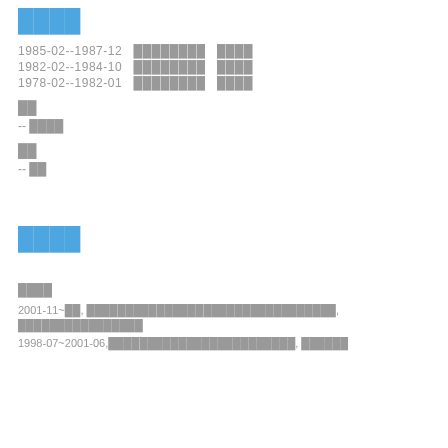████
1985-02--1987-12  ████████  ████
1982-02--1984-10  ████████  ████
1978-02--1982-01  ████████  ████
██
-- ████
██
-- ██
████
████
2001-11~██, ████████████████████████████████, ████████████████
1998-07~2001-06,████████████████████████, ██████